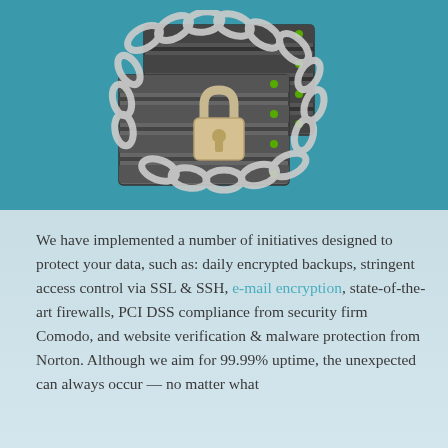[Figure (illustration): Illustration of server rack units wrapped in chains with a padlock, representing data security, on a teal background]
We have implemented a number of initiatives designed to protect your data, such as: daily encrypted backups, stringent access control via SSL & SSH, e-mail encryption, state-of-the-art firewalls, PCI DSS compliance from security firm Comodo, and website verification & malware protection from Norton. Although we aim for 99.99% uptime, the unexpected can always occur — no matter what